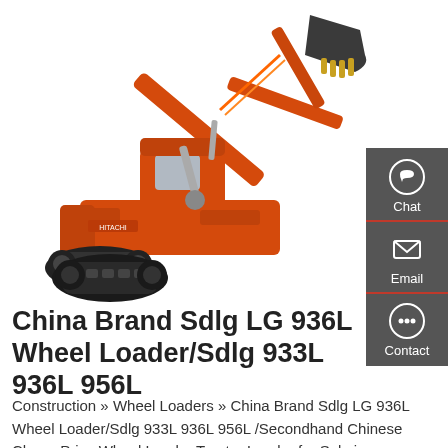[Figure (photo): Orange hydraulic excavator/crawler on white background, showing extended boom arm and bucket]
China Brand Sdlg LG 936L Wheel Loader/Sdlg 933L 936L 956L
Construction » Wheel Loaders » China Brand Sdlg LG 936L Wheel Loader/Sdlg 933L 936L 956L /Secondhand Chinese Cheap Price Wheel Loader Tractor Loader for Sale in